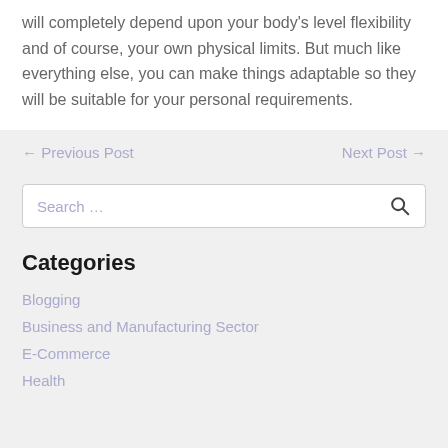will completely depend upon your body's level flexibility and of course, your own physical limits. But much like everything else, you can make things adaptable so they will be suitable for your personal requirements.
← Previous Post
Next Post →
Search …
Categories
Blogging
Business and Manufacturing Sector
E-Commerce
Health